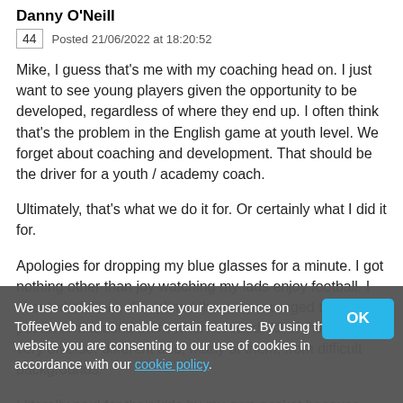Danny O'Neill
44   Posted 21/06/2022 at 18:20:52
Mike, I guess that's me with my coaching head on. I just want to see young players given the opportunity to be developed, regardless of where they end up. I often think that's the problem in the English game at youth level. We forget about coaching and development. That should be the driver for a youth / academy coach.
Ultimately, that's what we do it for. Or certainly what I did it for.
Apologies for dropping my blue glasses for a minute. I got nothing other than joy watching my lads enjoy football. I shouted at them, disciplined them, encouraged them and put an arm around them when needed. All of them from very diverse, different and, many of them, from difficult backgrounds.
I literally paid for their kids by my own pocket because ridiculously they got fined for hooting... the kids who come from backgrounds where they can't pay their bus
We use cookies to enhance your experience on ToffeeWeb and to enable certain features. By using the website you are consenting to our use of cookies in accordance with our cookie policy.